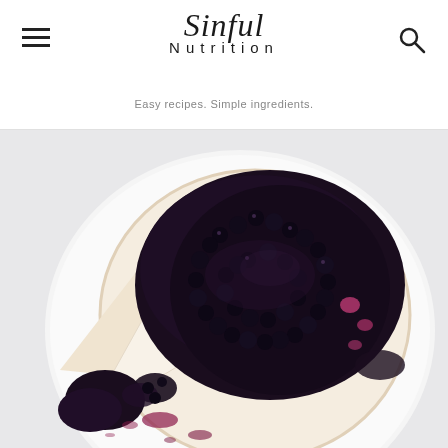Sinful Nutrition — Easy recipes. Simple ingredients.
[Figure (photo): Top-down view of a white cheesecake on a white plate, topped with dark blueberry compote sauce, with a slice removed showing the creamy interior, berry sauce spilling onto the plate]